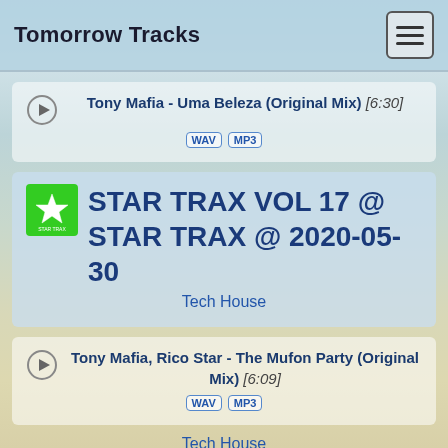Tomorrow Tracks
Tony Mafia - Uma Beleza (Original Mix) [6:30]
WAV MP3
STAR TRAX VOL 17 @ STAR TRAX @ 2020-05-30
Tech House
Tony Mafia, Rico Star - The Mufon Party (Original Mix) [6:09]
WAV MP3
Tech House
Pancho Galvez - Hoolong (Original Mix) [6:08]